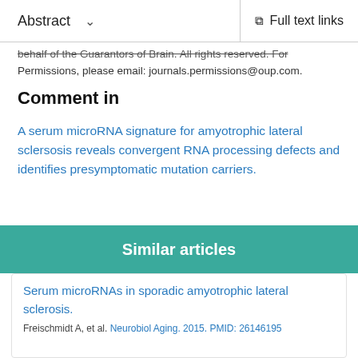Abstract   Full text links
behalf of the Guarantors of Brain. All rights reserved. For Permissions, please email: journals.permissions@oup.com.
Comment in
A serum microRNA signature for amyotrophic lateral sclersosis reveals convergent RNA processing defects and identifies presymptomatic mutation carriers.
Lee YB, et al. Brain. 2014. PMID: 25344081
No abstract available.
Similar articles
Serum microRNAs in sporadic amyotrophic lateral sclerosis.
Freischmidt A, et al. Neurobiol Aging. 2015. PMID: 26146195